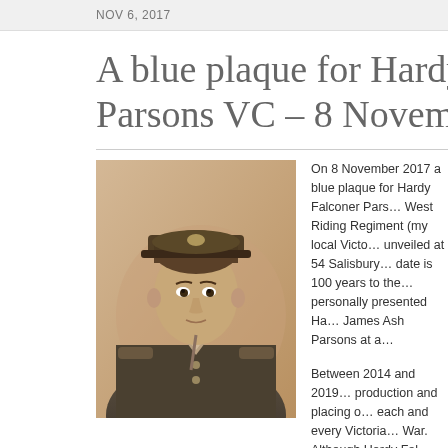NOV 6, 2017
A blue plaque for Hardy Falconer Parsons VC – 8 November 2…
[Figure (photo): Sepia portrait photograph of Hardy Falconer Parsons in military uniform with cap and badges]
On 8 November 2017 a blue plaque for Hardy Falconer Parsons VC, West Riding Regiment (my local Victoria Cross recipient) will be unveiled at 54 Salisbury Road… The date is 100 years to the day that King George V personally presented Hardy Falconer Parsons' father James Ash Parsons at a…
Between 2014 and 2019 I fundraised for the production and placing of blue plaques to honour each and every Victoria Cross recipient of the Great War. Although Hardy Falconer Parsons lived at 54 Salisbury Road, he was… the government funded…